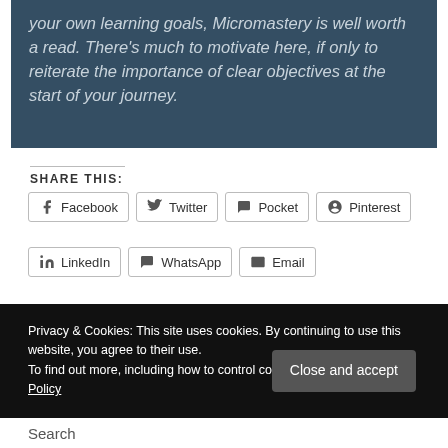your own learning goals, Micromastery is well worth a read. There's much to motivate here, if only to reiterate the importance of clear objectives at the start of your journey.
SHARE THIS:
Facebook | Twitter | Pocket | Pinterest | LinkedIn | WhatsApp | Email
Privacy & Cookies: This site uses cookies. By continuing to use this website, you agree to their use. To find out more, including how to control cookies, see here: Cookie Policy
Search